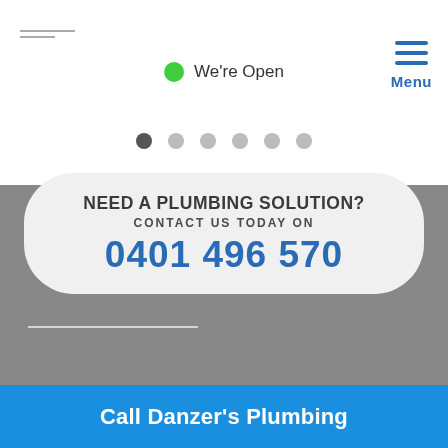[Figure (screenshot): Green dot open status indicator with text 'We're Open']
We're Open
[Figure (other): Hamburger menu icon with 'Menu' label in blue]
Menu
[Figure (other): Slider pagination dots, 6 dots, first one active/dark]
NEED A PLUMBING SOLUTION? CONTACT US TODAY ON 0401 496 570
Call Danzer's Plumbing